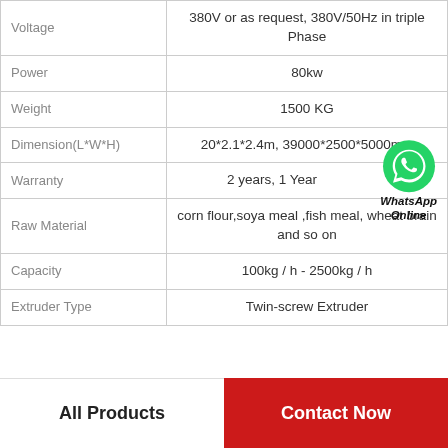| Parameter | Value |
| --- | --- |
| Voltage | 380V or as request, 380V/50Hz in triple Phase |
| Power | 80kw |
| Weight | 1500 KG |
| Dimension(L*W*H) | 20*2.1*2.4m, 39000*2500*5000mm |
| Warranty | 2 years, 1 Year |
| Raw Material | corn flour,soya meal ,fish meal, wheat brain and so on |
| Capacity | 100kg / h - 2500kg / h |
| Extruder Type | Twin-screw Extruder |
[Figure (logo): WhatsApp Online icon with green phone logo and text 'WhatsApp Online']
All Products
Contact Now